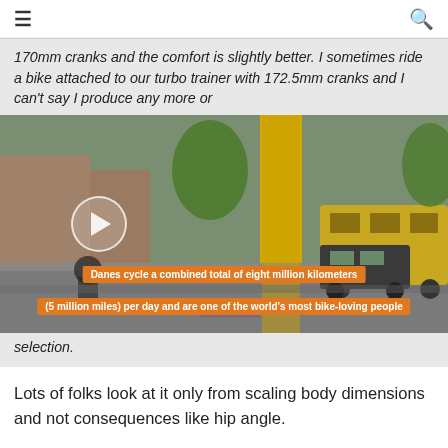170mm cranks and the comfort is slightly better. I sometimes ride a bike attached to our turbo trainer with 172.5mm cranks and I can't say I produce any more or
[Figure (screenshot): Street scene video screenshot showing a cyclist on an urban street with a yellow-painted tree trunk, bus, and cars. Orange caption bars read: 'Danes cycle a combined total of eight million kilometers' and '(5 million miles) per day and are one of the world's most bike-loving people'. A circular play button is visible.]
selection.
Lots of folks look at it only from scaling body dimensions and not consequences like hip angle.